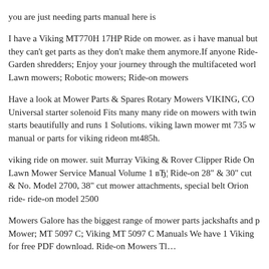you are just needing parts manual here is
I have a Viking MT770H 17HP Ride on mower. as i have manual but they can't get parts as they don't make them anymore.If anyone Ride-Garden shredders; Enjoy your journey through the multifaceted world Lawn mowers; Robotic mowers; Ride-on mowers
Have a look at Mower Parts & Spares Rotary Mowers VIKING, CO Universal starter solenoid Fits many many ride on mowers with twin starts beautifully and runs 1 Solutions. viking lawn mower mt 735 w manual or parts for viking rideon mt485h.
viking ride on mower. suit Murray Viking & Rover Clipper Ride On Lawn Mower Service Manual Volume 1 вЂ¦ Ride-on 28" & 30" cut & No. Model 2700, 38" cut mower attachments, special belt Orion ride- ride-on model 2500
Mowers Galore has the biggest range of mower parts jackshafts and p Mower; MT 5097 C; Viking MT 5097 C Manuals We have 1 Viking for free PDF download. Ride-on Mowers Tl…